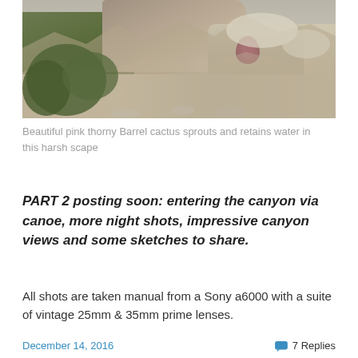[Figure (photo): Rocky desert canyon landscape with green shrubs/trees on the left and a pink barrel cactus visible among limestone rocks on the right side]
Beautiful pink thorny Barrel cactus sprouts and retains water in this harsh scape
PART 2 posting soon: entering the canyon via canoe, more night shots, impressive canyon views and some sketches to share.
All shots are taken manual from a Sony a6000 with a suite of vintage 25mm & 35mm prime lenses.
December 14, 2016    💬 7 Replies